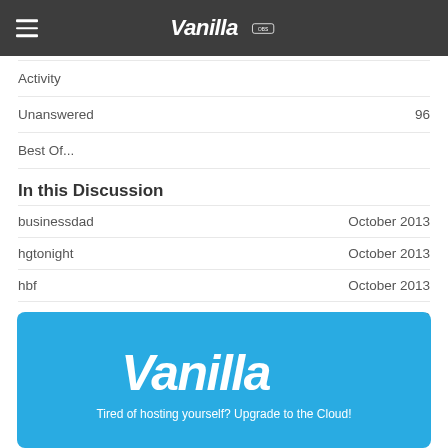Vanilla Forums
Activity
Unanswered    96
Best Of...
In this Discussion
businessdad    October 2013
hgtonight    October 2013
hbf    October 2013
x00    October 2013
R_J    October 2013
[Figure (illustration): Vanilla Forums cloud hosting advertisement banner with white Vanilla logo on blue background and text: Tired of hosting yourself? Upgrade to the Cloud!]